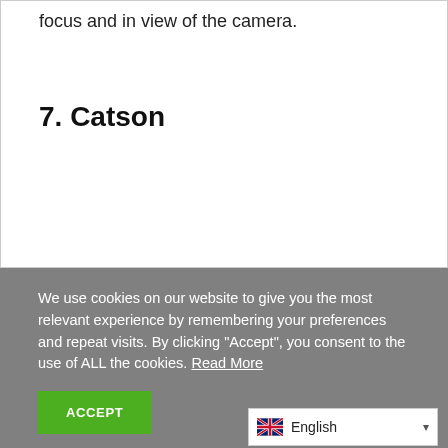focus and in view of the camera.
7. Catson
We use cookies on our website to give you the most relevant experience by remembering your preferences and repeat visits. By clicking “Accept”, you consent to the use of ALL the cookies. Read More
ACCEPT
English